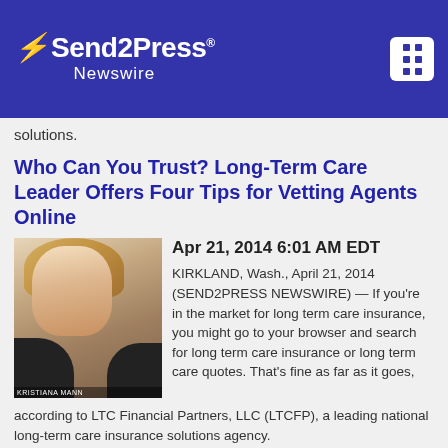Send2Press Newswire
solutions.
Who Can You Trust? Long-Term Care Leader Offers Four Tips for Vetting Agents Online
[Figure (photo): Headshot photo of a woman with blonde hair wearing a black jacket]
Apr 21, 2014 6:01 AM EDT
KIRKLAND, Wash., April 21, 2014 (SEND2PRESS NEWSWIRE) — If you're in the market for long term care insurance, you might go to your browser and search for long term care insurance or long term care quotes. That's fine as far as it goes, according to LTC Financial Partners, LLC (LTCFP), a leading national long-term care insurance solutions agency.
Long-Term Care Leader Extends Strategic Partnership Offers Hundreds of Savings